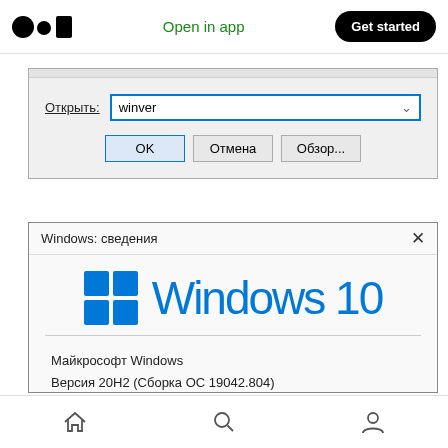Open in app  Get started
[Figure (screenshot): Windows Run dialog with 'winver' typed in the Open field, with OK, Отмена (Cancel), and Обзор... (Browse) buttons]
[Figure (screenshot): Windows: сведения dialog showing Windows 10 logo with version info: Майкрософт Windows, Версия 20H2 (Сборка ОС 19042.804), © Корпорация Майкрософт (Microsoft Corporation), 2020. Все права. Операционная система Windows 10 Pro и пользовательский.]
Home  Search  Profile